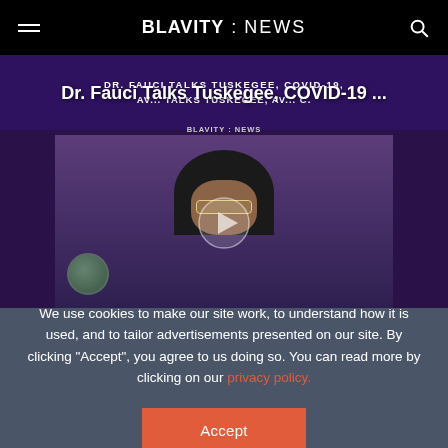BLAVITY : NEWS
[Figure (screenshot): Video thumbnail showing a woman with large curly hair and glasses, with the title 'Dr. Fauci Talks Tuskegee, COVID-19 ...' overlaid, set against a purple background. A play button is visible in the center of the thumbnail. BLAVITY NEWS watermark shown.]
We use cookies to make our site work, to understand how it is used, and to tailor advertisements presented on our site. By clicking "Accept", you agree to us doing so. You can read more by clicking on our privacy policy.
Accept